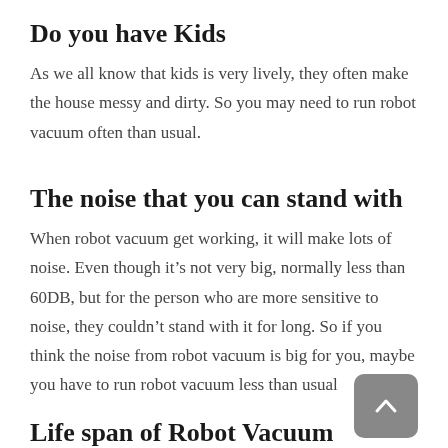Do you have Kids
As we all know that kids is very lively, they often make the house messy and dirty. So you may need to run robot vacuum often than usual.
The noise that you can stand with
When robot vacuum get working, it will make lots of noise. Even though it’s not very big, normally less than 60DB, but for the person who are more sensitive to noise, they couldn’t stand with it for long. So if you think the noise from robot vacuum is big for you, maybe you have to run robot vacuum less than usual
Life span of Robot Vacuum